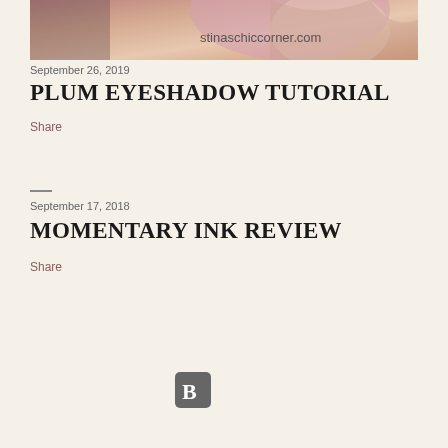[Figure (photo): Partial photo of a person with long hair and pink/white clothing, with website watermark 'stinaschiccorner.com' overlaid]
September 26, 2019
stinaschiccorner.com
PLUM EYESHADOW TUTORIAL
Share
September 17, 2018
MOMENTARY INK REVIEW
Share
[Figure (logo): Blogger platform icon — rounded square with 'B' letter in white on gray background]